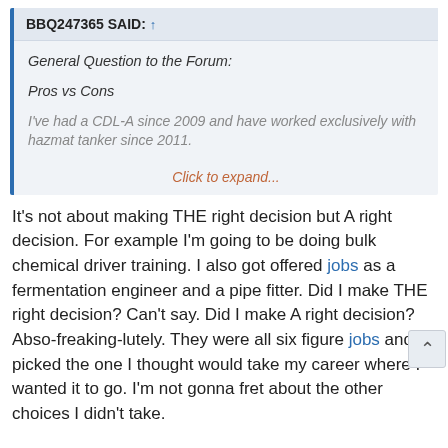BBQ247365 SAID: ↑
General Question to the Forum:
Pros vs Cons
I've had a CDL-A since 2009 and have worked exclusively with hazmat tanker since 2011.
Click to expand...
It's not about making THE right decision but A right decision. For example I'm going to be doing bulk chemical driver training. I also got offered jobs as a fermentation engineer and a pipe fitter. Did I make THE right decision? Can't say. Did I make A right decision? Abso-freaking-lutely. They were all six figure jobs and I picked the one I thought would take my career where I wanted it to go. I'm not gonna fret about the other choices I didn't take.